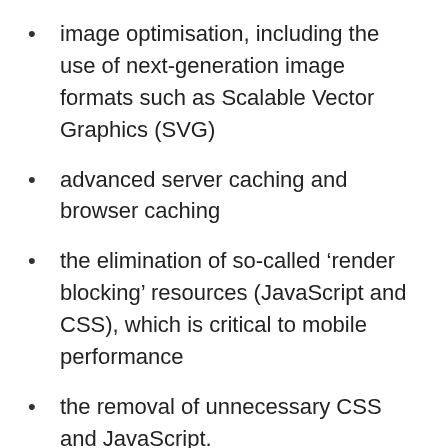image optimisation, including the use of next-generation image formats such as Scalable Vector Graphics (SVG)
advanced server caching and browser caching
the elimination of so-called ‘render blocking’ resources (JavaScript and CSS), which is critical to mobile performance
the removal of unnecessary CSS and JavaScript.
Over the coming months, I will be launching commercial sites for businesses in Cambridgeshire using these technologies to deliver significant online competitive